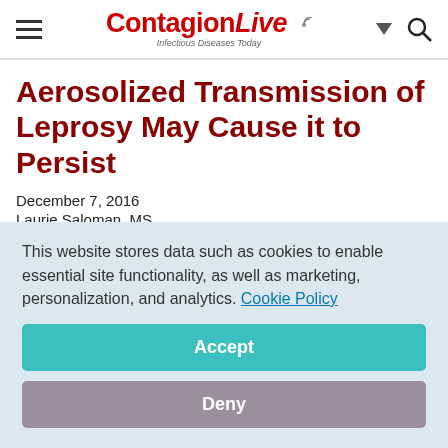ContagionLive — Infectious Diseases Today
Aerosolized Transmission of Leprosy May Cause it to Persist
December 7, 2016
Laurie Saloman, MS
[Figure (other): Social share icons: Facebook, Twitter, LinkedIn, Pinterest, Email]
This website stores data such as cookies to enable essential site functionality, as well as marketing, personalization, and analytics. Cookie Policy
Accept
Deny